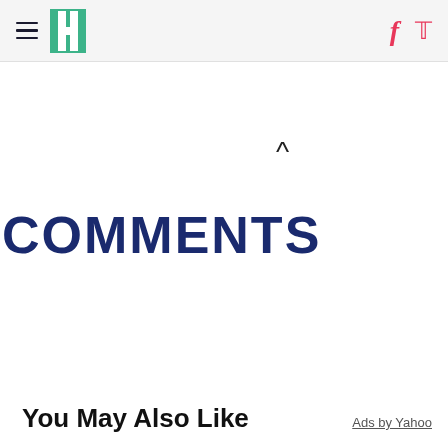HuffPost navigation with hamburger menu, logo, Facebook and Twitter icons
COMMENTS
You May Also Like
Ads by Yahoo